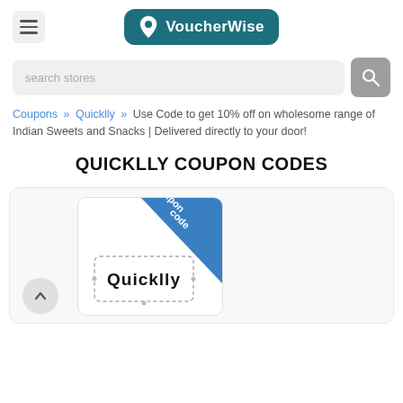VoucherWise
search stores
Coupons » Quicklly » Use Code to get 10% off on wholesome range of Indian Sweets and Snacks | Delivered directly to your door!
QUICKLLY COUPON CODES
[Figure (illustration): Quicklly coupon code card with blue diagonal banner saying 'Coupon code' and Quicklly logo text with dashed border]